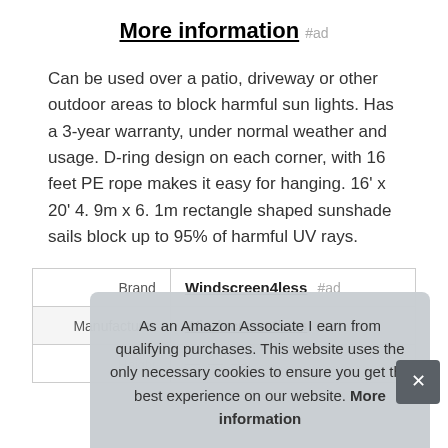More information #ad
Can be used over a patio, driveway or other outdoor areas to block harmful sun lights. Has a 3-year warranty, under normal weather and usage. D-ring design on each corner, with 16 feet PE rope makes it easy for hanging. 16' x 20' 4. 9m x 6. 1m rectangle shaped sunshade sails block up to 95% of harmful UV rays.
|  |  |
| --- | --- |
| Brand | Windscreen4less #ad |
| Manufacturer | Windscreen4less #ad |
As an Amazon Associate I earn from qualifying purchases. This website uses the only necessary cookies to ensure you get the best experience on our website. More information